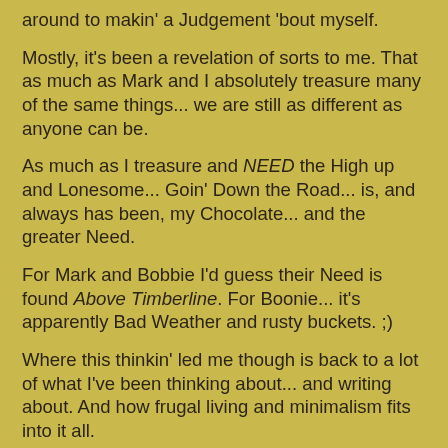around to makin' a Judgement 'bout myself.
Mostly, it's been a revelation of sorts to me. That as much as Mark and I absolutely treasure many of the same things... we are still as different as anyone can be.
As much as I treasure and NEED the High up and Lonesome... Goin' Down the Road... is, and always has been, my Chocolate... and the greater Need.
For Mark and Bobbie I'd guess their Need is found Above Timberline. For Boonie... it's apparently Bad Weather and rusty buckets. ;)
Where this thinkin' led me though is back to a lot of what I've been thinking about... and writing about. And how frugal living and minimalism fits into it all.
I'm coming 'round to the realization that Frugality and minimalism isn't or shouldn't be the goal... they should only be possible tools to achieve a goal.